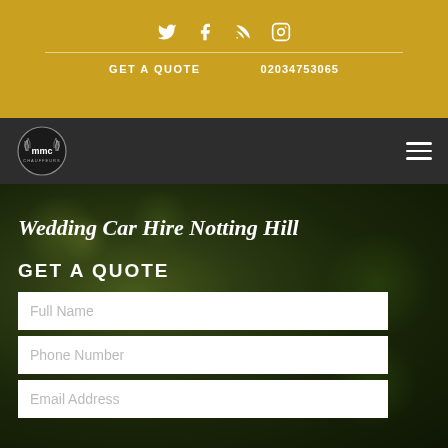Social icons: Twitter, Facebook, RSS, Instagram
GET A QUOTE   02034753065
[Figure (logo): MMC Chauffeurs logo — circular laurel wreath badge]
Wedding Car Hire Notting Hill
GET A QUOTE
Full Name
Phone Number
Email Address